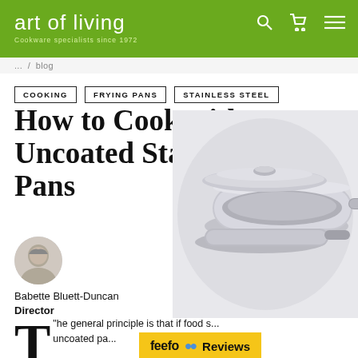art of living — Cookware specialists since 1972
COOKING
FRYING PANS
STAINLESS STEEL
How to Cook with Uncoated Stainless Steel Pans
Babette Bluett-Duncan
Director
[Figure (photo): Close-up of stacked stainless steel pans with silver finish]
The general principle is that if food s... uncoated pa...
[Figure (logo): Feefo Reviews badge in yellow background]